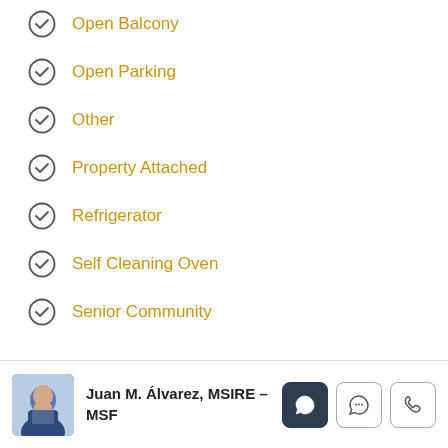Open Balcony
Open Parking
Other
Property Attached
Refrigerator
Self Cleaning Oven
Senior Community
Juan M. Álvarez, MSIRE – MSF